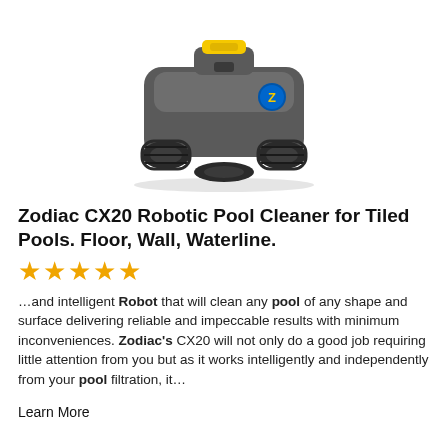[Figure (photo): Zodiac CX20 robotic pool cleaner — dark grey device with tank-like treads, yellow handle on top, blue Zodiac logo badge on the side, viewed from a front-left angle on a white background.]
Zodiac CX20 Robotic Pool Cleaner for Tiled Pools. Floor, Wall, Waterline.
[Figure (other): Five gold/yellow star rating icons]
…and intelligent Robot that will clean any pool of any shape and surface delivering reliable and impeccable results with minimum inconveniences. Zodiac's CX20 will not only do a good job requiring little attention from you but as it works intelligently and independently from your pool filtration, it…
Learn More